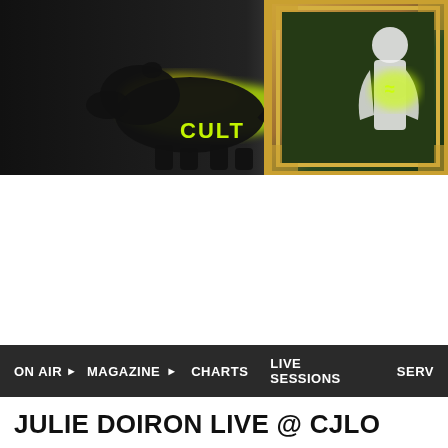[Figure (screenshot): Website header banner showing a dark background with a yellow glowing hippo/animal silhouette logo with text 'CULT' on the left side, and a gold ornate picture frame with a white figure and yellow glow on the right side.]
ON AIR ▶   MAGAZINE ▶   CHARTS   LIVE SESSIONS   SERV
JULIE DOIRON LIVE @ CJLO